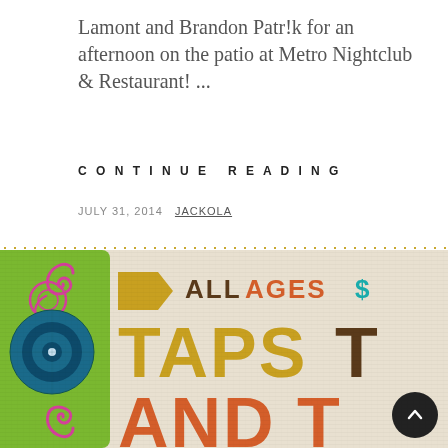Lamont and Brandon Patr!k for an afternoon on the patio at Metro Nightclub & Restaurant! ...
CONTINUE READING
JULY 31, 2014  JACKOLA
[Figure (infographic): Promotional infographic for an event titled 'Taps and T...' with 'All Ages' text, featuring colorful typography in brown, orange, yellow and teal on a distressed background with a green left panel containing decorative scroll designs and a yellow dotted border at top.]